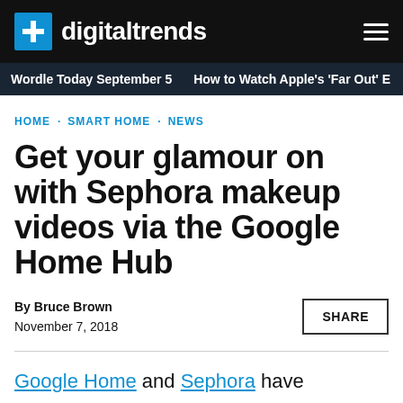digitaltrends
Wordle Today September 5  How to Watch Apple's 'Far Out' E
HOME · SMART HOME · NEWS
Get your glamour on with Sephora makeup videos via the Google Home Hub
By Bruce Brown
November 7, 2018
Google Home and Sephora have